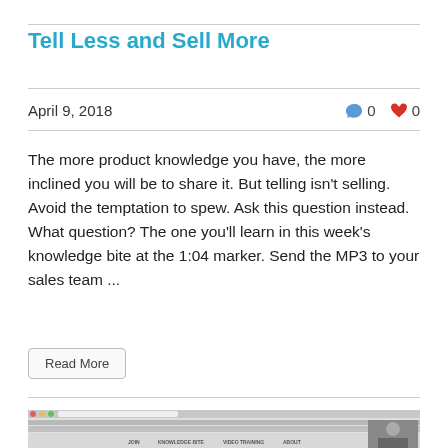Tell Less and Sell More
April 9, 2018
The more product knowledge you have, the more inclined you will be to share it. But telling isn't selling. Avoid the temptation to spew. Ask this question instead. What question? The one you'll learn in this week's knowledge bite at the 1:04 marker. Send the MP3 to your sales team ...
Read More
[Figure (screenshot): Screenshot of a website showing a sales training platform with navigation menu including JOIN, KNOWLEDGE BITE, VIDEO TRAINING, ABOUT, and a small video thumbnail of a person on the right side.]